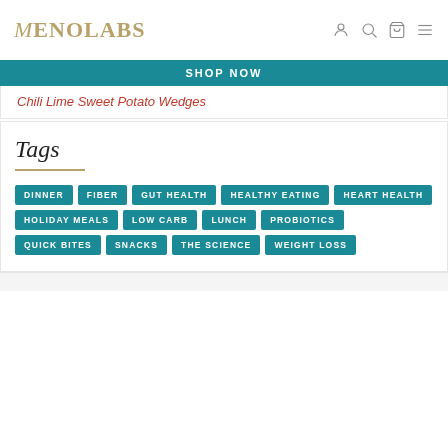MENOLABS
SHOP NOW
Chili Lime Sweet Potato Wedges
Tags
DINNER
FIBER
GUT HEALTH
HEALTHY EATING
HEART HEALTH
HOLIDAY MEALS
LOW CARB
LUNCH
PROBIOTICS
QUICK BITES
SNACKS
THE SCIENCE
WEIGHT LOSS